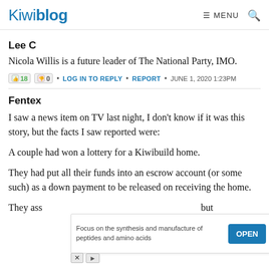Kiwiblog — MENU 🔍
Lee C
Nicola Willis is a future leader of The National Party, IMO.
👍 18 👎 0 • LOG IN TO REPLY • REPORT • JUNE 1, 2020 1:23PM
Fentex
I saw a news item on TV last night, I don't know if it was this story, but the facts I saw reported were:
A couple had won a lottery for a Kiwibuild home.
They had put all their funds into an escrow account (or some such) as a down payment to be released on receiving the home.
They ass... but
[Figure (other): Advertisement overlay: 'Focus on the synthesis and manufacture of peptides and amino acids' with an OPEN button]